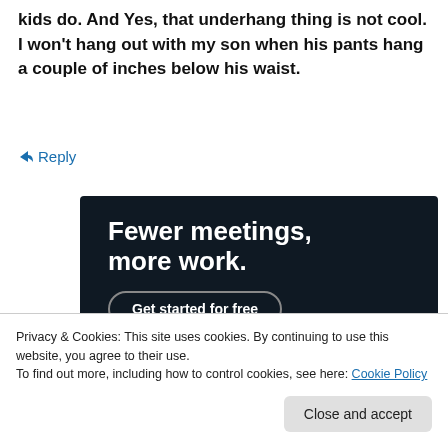kids do. And Yes, that underhang thing is not cool. I won't hang out with my son when his pants hang a couple of inches below his waist.
↳ Reply
[Figure (infographic): Dark advertisement banner with bold white text reading 'Fewer meetings, more work.' and a 'Get started for free' button with rounded border.]
Privacy & Cookies: This site uses cookies. By continuing to use this website, you agree to their use.
To find out more, including how to control cookies, see here: Cookie Policy